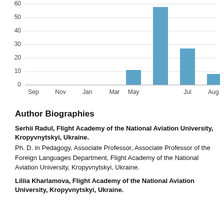[Figure (bar-chart): ]
Author Biographies
Serhii Radul, Flight Academy of the National Aviation University, Kropyvnytskyi, Ukraine. Ph. D. in Pedagogy, Associate Professor, Associate Professor of the Foreign Languages Department, Flight Academy of the National Aviation University, Kropyvnytskyi, Ukraine.
Liliia Kharlamova, Flight Academy of the National Aviation University, Kropyvnytskyi, Ukraine.